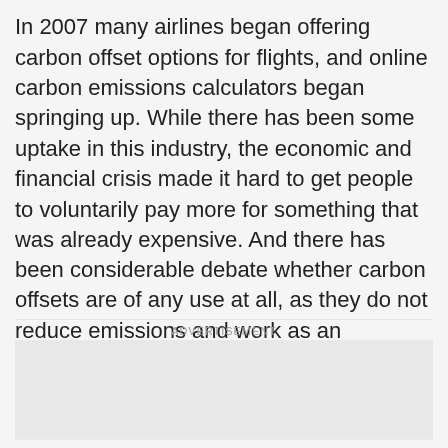In 2007 many airlines began offering carbon offset options for flights, and online carbon emissions calculators began springing up. While there has been some uptake in this industry, the economic and financial crisis made it hard to get people to voluntarily pay more for something that was already expensive. And there has been considerable debate whether carbon offsets are of any use at all, as they do not reduce emissions and work as an emissions accounting trick.
ADVERTISEMENT
[Figure (other): Advertisement placeholder box with light gray background]